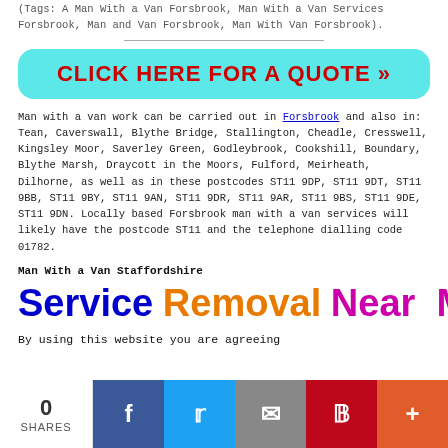(Tags: A Man With a Van Forsbrook, Man With a Van Services Forsbrook, Man and Van Forsbrook, Man With Van Forsbrook).
[Figure (other): Cyan rounded button with red bold text: CLICK HERE FOR A QUOTE >>]
Man with a van work can be carried out in Forsbrook and also in: Tean, Caverswall, Blythe Bridge, Stallington, Cheadle, Cresswell, Kingsley Moor, Saverley Green, Godleybrook, Cookshill, Boundary, Blythe Marsh, Draycott in the Moors, Fulford, Meirheath, Dilhorne, as well as in these postcodes ST11 9DP, ST11 9DT, ST11 9BB, ST11 9BY, ST11 9AN, ST11 9DR, ST11 9AR, ST11 9BS, ST11 9DE, ST11 9DN. Locally based Forsbrook man with a van services will likely have the postcode ST11 and the telephone dialling code 01782.
Man With a Van Staffordshire
Service Removal Near Me
By using this website you are agreeing
0 SHARES [Facebook] [Twitter] [Email] [Pinterest] [Plus]